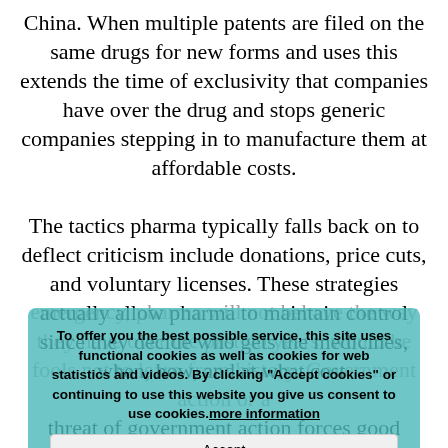China. When multiple patents are filed on the same drugs for new forms and uses this extends the time of exclusivity that companies have over the drug and stops generic companies stepping in to manufacture them at affordable costs. The tactics pharma typically falls back on to deflect criticism include donations, price cuts, and voluntary licenses. These strategies actually allow pharma to maintain control since they decide who gets the medicines, when, how, and at what cost.
To offer you the best possible service, this site uses functional cookies as well as cookies for web statistics and videos. By clicking "Accept cookies" or continuing to use this website you give us consent to use cookies. more information
threat of government action forces good